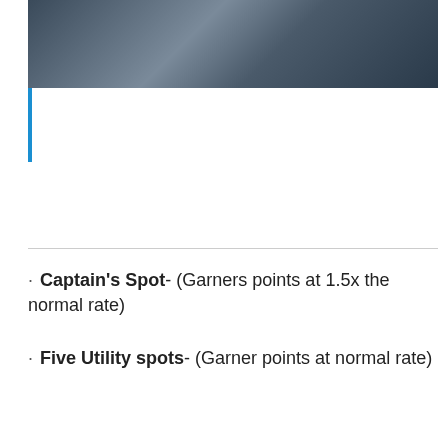[Figure (photo): Sports photo showing athletes in dark uniforms with white gloves]
Captain's Spot- (Garners points at 1.5x the normal rate)
Five Utility spots- (Garner points at normal rate)